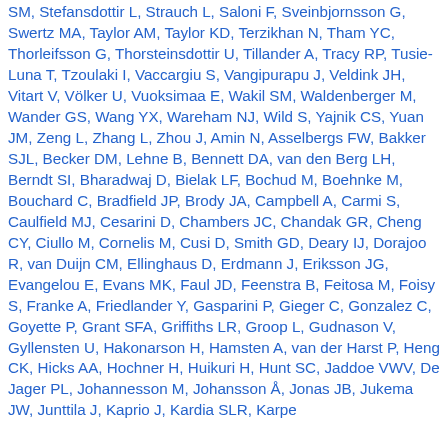SM, Stefansdottir L, Strauch L, Saloni F, Sveinbjornsson G, Swertz MA, Taylor AM, Taylor KD, Terzikhan N, Tham YC, Thorleifsson G, Thorsteinsdottir U, Tillander A, Tracy RP, Tusie-Luna T, Tzoulaki I, Vaccargiu S, Vangipurapu J, Veldink JH, Vitart V, Völker U, Vuoksimaa E, Wakil SM, Waldenberger M, Wander GS, Wang YX, Wareham NJ, Wild S, Yajnik CS, Yuan JM, Zeng L, Zhang L, Zhou J, Amin N, Asselbergs FW, Bakker SJL, Becker DM, Lehne B, Bennett DA, van den Berg LH, Berndt SI, Bharadwaj D, Bielak LF, Bochud M, Boehnke M, Bouchard C, Bradfield JP, Brody JA, Campbell A, Carmi S, Caulfield MJ, Cesarini D, Chambers JC, Chandak GR, Cheng CY, Ciullo M, Cornelis M, Cusi D, Smith GD, Deary IJ, Dorajoo R, van Duijn CM, Ellinghaus D, Erdmann J, Eriksson JG, Evangelou E, Evans MK, Faul JD, Feenstra B, Feitosa M, Foisy S, Franke A, Friedlander Y, Gasparini P, Gieger C, Gonzalez C, Goyette P, Grant SFA, Griffiths LR, Groop L, Gudnason V, Gyllensten U, Hakonarson H, Hamsten A, van der Harst P, Heng CK, Hicks AA, Hochner H, Huikuri H, Hunt SC, Jaddoe VWV, De Jager PL, Johannesson M, Johansson Å, Jonas JB, Jukema JW, Junttila J, Kaprio J, Kardia SLR, Karpe